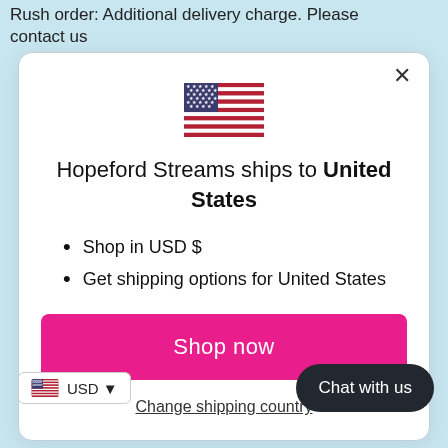Rush order: Additional delivery charge. Please contact us
[Figure (illustration): US flag emoji/icon]
Hopeford Streams ships to United States
Shop in USD $
Get shipping options for United States
Shop now
Change shipping country
USD
Chat with us